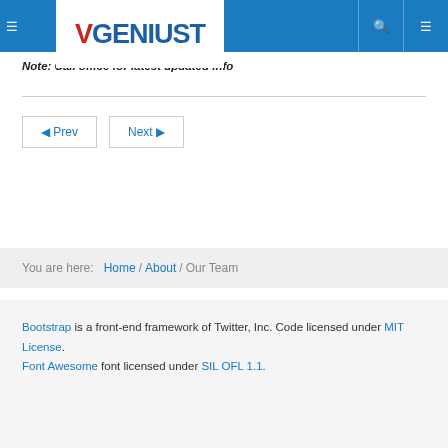VGENIUST
Note: Call office for latest updated info
Prev  Next
You are here: Home / About / Our Team
Bootstrap is a front-end framework of Twitter, Inc. Code licensed under MIT License.
Font Awesome font licensed under SIL OFL 1.1.